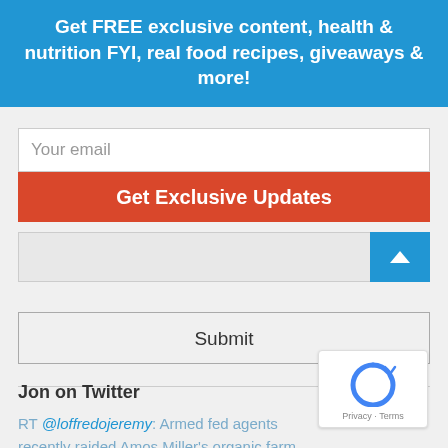Get FREE exclusive content, health & nutrition FYI, real food recipes, giveaways & more!
Your email
Get Exclusive Updates
Submit
Jon on Twitter
RT @loffredojeremy: Armed fed agents recently raided Amos Miller's organic farm in Pennsylvania. They demanded he cease farming & crippled...
Yesterday at 4:21 PM